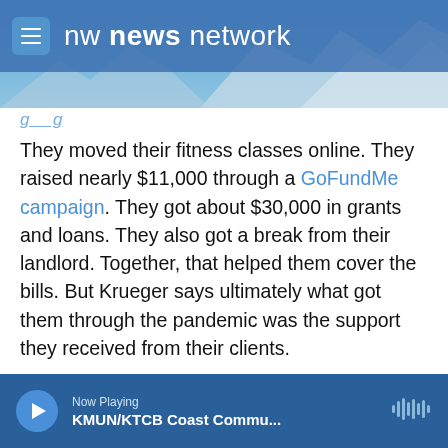nw news network
They moved their fitness classes online. They raised nearly $11,000 through a GoFundMe campaign. They got about $30,000 in grants and loans. They also got a break from their landlord. Together, that helped them cover the bills. But Krueger says ultimately what got them through the pandemic was the support they received from their clients.
“They have carried us through this entire year,” Krueger said.
Now Playing KMUN/KTCB Coast Commu...